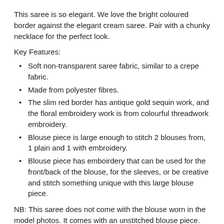This saree is so elegant. We love the bright coloured border against the elegant cream saree. Pair with a chunky necklace for the perfect look.
Key Features:
Soft non-transparent saree fabric, similar to a crepe fabric.
Made from polyester fibres.
The slim red border has antique gold sequin work, and the floral embroidery work is from colourful threadwork embroidery.
Blouse piece is large enough to stitch 2 blouses from, 1 plain and 1 with embroidery.
Blouse piece has emboirdery that can be used for the front/back of the blouse, for the sleeves, or be creative and stitch something unique with this large blouse piece.
NB: This saree does not come with the blouse worn in the model photos. It comes with an unstitched blouse piece. Please see the images of the blouse piece fabric.
Product Code: R8_306